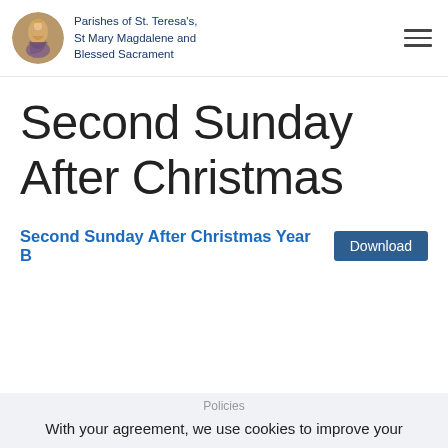Parishes of St. Teresa's, St Mary Magdalene and Blessed Sacrament
Second Sunday After Christmas
Second Sunday After Christmas Year B
With your agreement, we use cookies to improve your